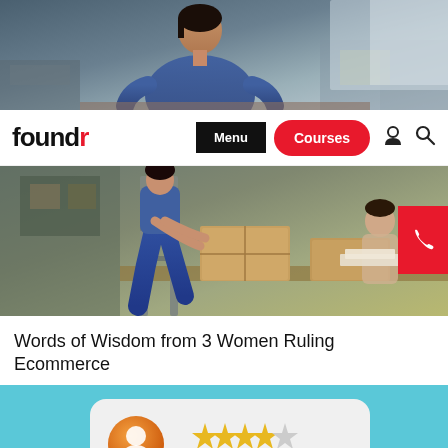[Figure (photo): Woman in denim jacket working in warehouse/storage room with cardboard boxes, top portion of image]
[Figure (screenshot): Foundr website navigation bar with logo, Menu button, Courses button, user icon, and search icon]
[Figure (photo): Person sitting on ladder packing or handling cardboard boxes in a workshop/warehouse setting]
Words of Wisdom from 3 Women Ruling Ecommerce
[Figure (illustration): Light blue background with a review card showing an orange avatar, 4 out of 5 gold stars, and text lines; a black chat bubble button overlaid in the corner]